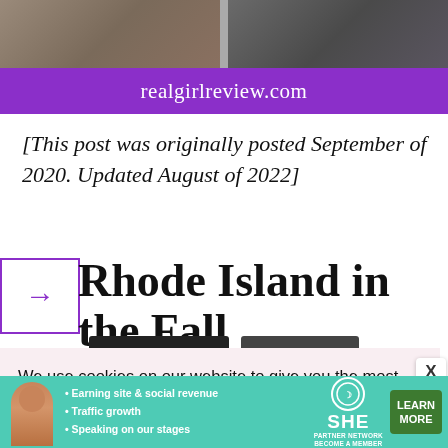[Figure (photo): Two side-by-side photos at the top of the page, one showing an outdoor rocky/nature scene, the other showing a person standing outdoors]
realgirlreview.com
[This post was originally posted September of 2020. Updated August of 2022]
Rhode Island in the Fall
We use cookies on our website to give you the most relevant experience by remembering your preferences and repeat visits. By clicking “Accept”, you consent to the use of all the cookies.
[Figure (illustration): Two dark buttons side by side at bottom of cookie banner]
[Figure (illustration): Advertisement banner: SHE Partner Network - Earning site & social revenue, Traffic growth, Speaking on our stages - LEARN MORE]